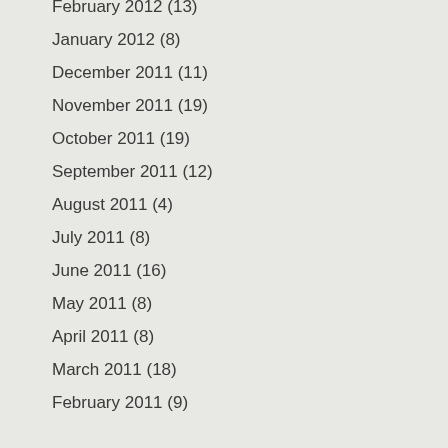February 2012 (13)
January 2012 (8)
December 2011 (11)
November 2011 (19)
October 2011 (19)
September 2011 (12)
August 2011 (4)
July 2011 (8)
June 2011 (16)
May 2011 (8)
April 2011 (8)
March 2011 (18)
February 2011 (9)